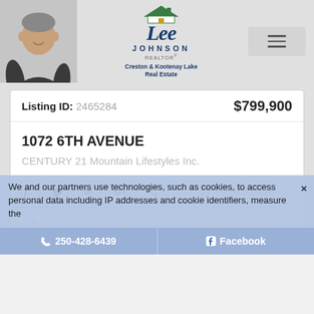[Figure (logo): Lee Johnson Realtor logo with house icon and tagline 'Creston & Kootenay Lake Real Estate', alongside a photo of a man]
Listing ID: 2465284  $799,900
1072 6TH AVENUE
CENTURY 21 Mountain Lifestyles Inc.
f  [twitter]  in  G+  [share]  Print this Page
We and our partners use technologies, such as cookies, to access personal data including IP addresses and cookie identifiers, measure the
250-428-6439
Facebook